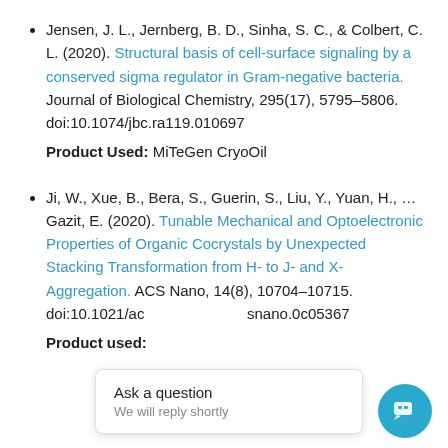Jensen, J. L., Jernberg, B. D., Sinha, S. C., & Colbert, C. L. (2020). Structural basis of cell-surface signaling by a conserved sigma regulator in Gram-negative bacteria. Journal of Biological Chemistry, 295(17), 5795–5806. doi:10.1074/jbc.ra119.010697 Product Used: MiTeGen CryoOil
Ji, W., Xue, B., Bera, S., Guerin, S., Liu, Y., Yuan, H., ... Gazit, E. (2020). Tunable Mechanical and Optoelectronic Properties of Organic Cocrystals by Unexpected Stacking Transformation from H- to J- and X-Aggregation. ACS Nano, 14(8), 10704–10715. doi:10.1021/acsnano.0c05367 Product used:
Ask a question — We will reply shortly